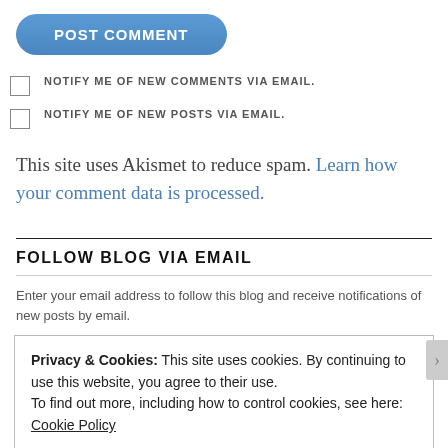POST COMMENT (button)
NOTIFY ME OF NEW COMMENTS VIA EMAIL.
NOTIFY ME OF NEW POSTS VIA EMAIL.
This site uses Akismet to reduce spam. Learn how your comment data is processed.
FOLLOW BLOG VIA EMAIL
Enter your email address to follow this blog and receive notifications of new posts by email.
Privacy & Cookies: This site uses cookies. By continuing to use this website, you agree to their use.
To find out more, including how to control cookies, see here: Cookie Policy
Close and accept